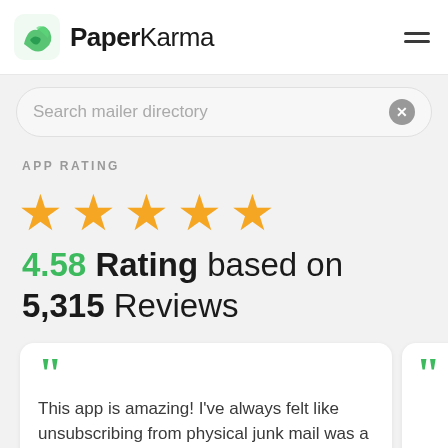[Figure (logo): PaperKarma app logo with green envelope icon and hamburger menu icon on the right]
Search mailer directory
APP RATING
[Figure (infographic): Five gold star rating icons]
4.58 Rating based on 5,315 Reviews
This app is amazing! I've always felt like unsubscribing from physical junk mail was a hopeless demoralizing